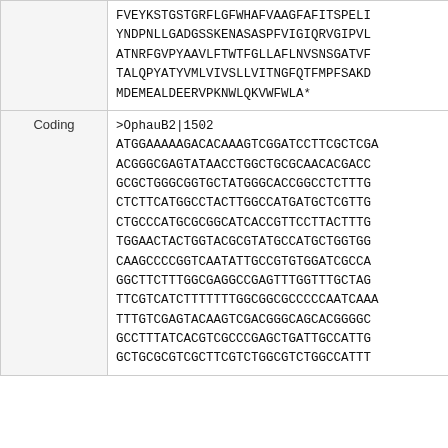|  |  |
| --- | --- |
|  | FVEYKSTGSTGRFLGFWHAFVAAGFAFITSPELI...
YNDPNLLGADGSSKENASASPFVIGIQRVGIPVL...
ATNRFGVPYAAVLFTWTFGLLAFLNVSNSGATVF...
TALQPYATYVMLVIVSLLVITNGFQTFMPFSAKD...
MDEMEALDEERVPKNWLQKVWFWLA* |
| Coding | >OphauB2|1502
ATGGAAAAAgACACAAaGTCGGATCCTTCGCTCGA...
ACGGGCGAGTATAACCTGGCTGCGCAACACGACC...
GCGCTGGGCGGTGCTATGGGCACCGGCCTCTTTG...
CTCTTCATGGCCTACTTGGCCATGATGCTCGTTG...
CTGCCCATGCGCGGCATCACCGTTCCTTACTTTG...
TGGAACTACTGGTACGCGTATGCCATGCTGGTGG...
CAAGCCCCGGTCAATATTGCCGTGTGGATCGCCA...
GGCTTCTTTGGCGAGGCCGAGTTTGGTTTGCTA...
TTCGTCATCTTTTTTGGCGGCGCCCCCAATC AAA...
TTTGTCGAGTACAAGTCGACGGGCAGCACGGGGC...
GCCTTTATCACGTCGCCCGAGCTGATTGCCATTG...
GCTGCGCGTCGCTTCGTCTGGCGTCTGGCCATT... |